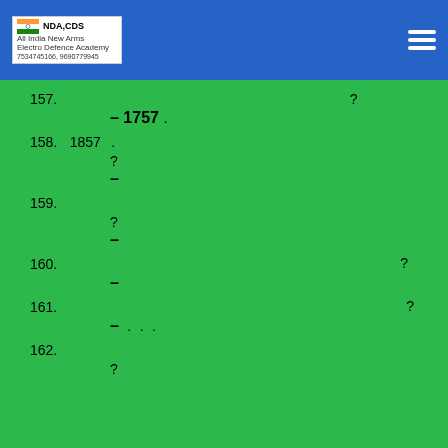NDA CDS — All India New Arms | Electro Defence Academy | Phone numbers
157. ? – 1757 .
158. 1857 . ? –
159. ? –
160. ? –
161. ? – . . .
162. ?